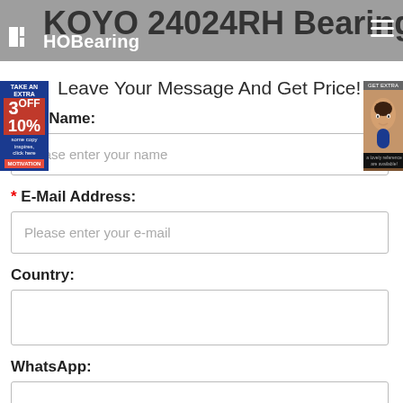HOBearing — KOYO 24024RH Bearing
Leave Your Message And Get Price!
Your Name:
Please enter your name
* E-Mail Address:
Please enter your e-mail
Country:
WhatsApp: